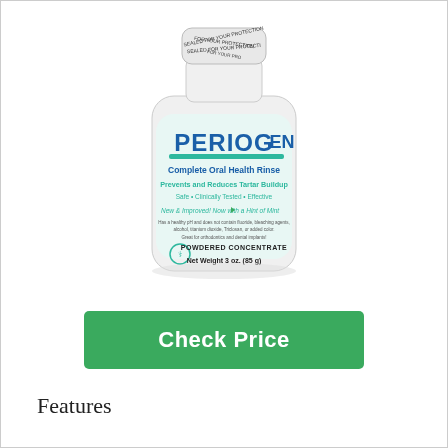[Figure (photo): A white plastic bottle of Periogen Complete Oral Health Rinse with a tamper-evident seal on the cap reading 'SEALED FOR YOUR PROTECTION'. The label shows the brand name PERIOGEN in large blue and teal letters, 'Complete Oral Health Rinse', 'Prevents and Reduces Tartar Buildup', 'Safe • Clinically Tested • Effective', 'New & Improved! Now with a Hint of Mint', additional ingredient and dental information text, a logo, 'POWDERED CONCENTRATE', and 'Net Weight 3 oz. (85 g)'.]
Check Price
Features